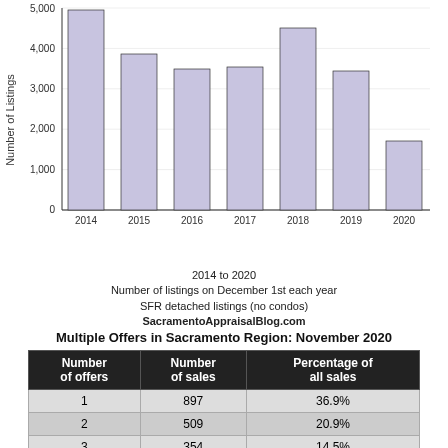[Figure (bar-chart): 2014 to 2020 – Number of listings on December 1st each year, SFR detached listings (no condos)]
2014 to 2020
Number of listings on December 1st each year
SFR detached listings (no condos)
SacramentoAppraisalBlog.com
Multiple Offers in Sacramento Region: November 2020
| Number of offers | Number of sales | Percentage of all sales |
| --- | --- | --- |
| 1 | 897 | 36.9% |
| 2 | 509 | 20.9% |
| 3 | 354 | 14.5% |
| 4 | 195 | 8.0% |
| 5 | 136 | 5.6% |
| 6 | 37 | 3.4% |